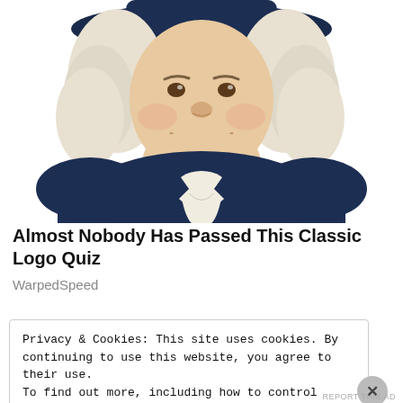[Figure (illustration): Illustration of the Quaker Oats man mascot — a smiling, heavyset man with white curly hair wearing a dark blue colonial jacket with a white cravat and a wide-brimmed hat, shown from waist up against a white background.]
Almost Nobody Has Passed This Classic Logo Quiz
WarpedSpeed
Privacy & Cookies: This site uses cookies. By continuing to use this website, you agree to their use.
To find out more, including how to control cookies, see here: Cookie Policy
Close and accept